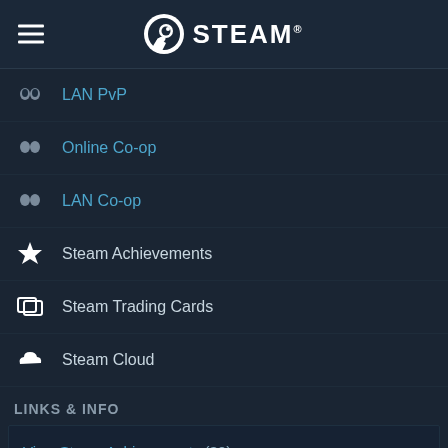STEAM
LAN PvP
Online Co-op
LAN Co-op
Steam Achievements
Steam Trading Cards
Steam Cloud
LINKS & INFO
View Steam Achievements (30)
View Points Shop Items (2)
View Community Hub